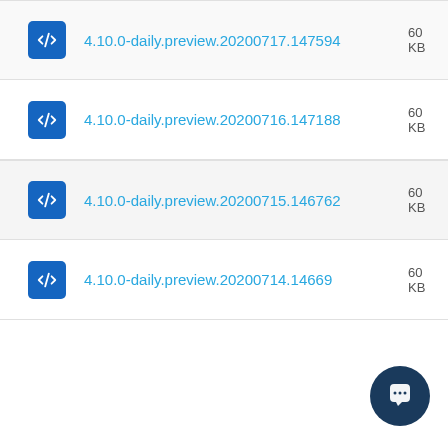4.10.0-daily.preview.20200717.147594
4.10.0-daily.preview.20200716.147188
4.10.0-daily.preview.20200715.146762
4.10.0-daily.preview.20200714.14669…
[Figure (illustration): Blue circular chat/support bubble icon in bottom right corner]